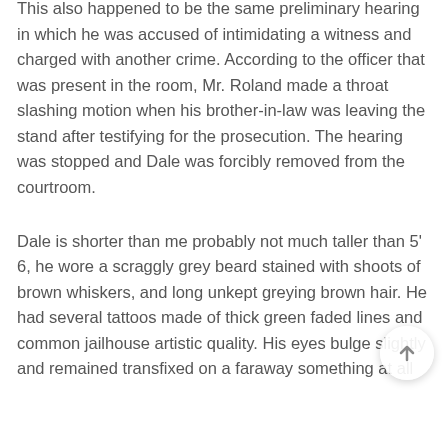This also happened to be the same preliminary hearing in which he was accused of intimidating a witness and charged with another crime. According to the officer that was present in the room, Mr. Roland made a throat slashing motion when his brother-in-law was leaving the stand after testifying for the prosecution. The hearing was stopped and Dale was forcibly removed from the courtroom.
Dale is shorter than me probably not much taller than 5' 6, he wore a scraggly grey beard stained with shoots of brown whiskers, and long unkept greying brown hair. He had several tattoos made of thick green faded lines and common jailhouse artistic quality. His eyes bulge slightly and remained transfixed on a faraway something at all